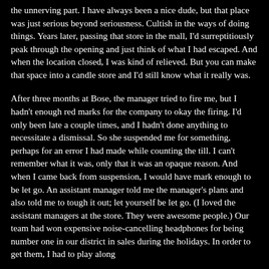the unnerving part. I have always been a nice dude, but that place was just serious beyond seriousness. Cultish in the ways of doing things. Years later, passing that store in the mall, I'd surreptitiously peak through the opening and just think of what I had escaped. And when the location closed, I was kind of relieved. But you can make that space into a candle store and I'd still know what it really was.
After three months at Bose, the manager tried to fire me, but I hadn't enough red marks for the company to okay the firing. I'd only been late a couple times, and I hadn't done anything to necessitate a dismissal. So she suspended me for something, perhaps for an error I had made while counting the till. I can't remember what it was, only that it was an opaque reason. And when I came back from suspension, I would have mark enough to be let go. An assistant manager told me the manager's plans and also told me to tough it out; let yourself be let go. (I loved the assistant managers at the store. They were awesome people.) Our team had won expensive noise-cancelling headphones for being number one in our district in sales during the holidays. In order to get them, I had to play along